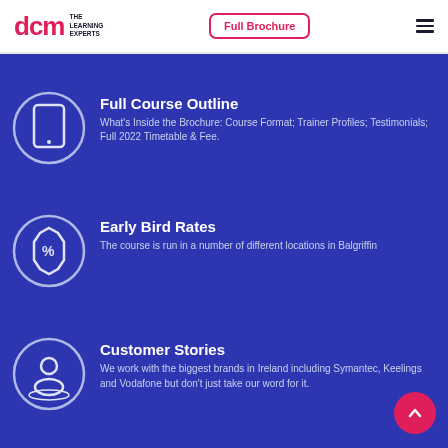[Figure (logo): DCM The Learning Experts logo in red/dark]
Full Brochure
[Figure (infographic): Tablet/device icon in circle]
Full Course Outline
What's Inside the Brochure: Course Format; Trainer Profiles; Testimonials; Full 2022 Timetable & Fee.
[Figure (infographic): Discount/percentage badge icon in circle]
Early Bird Rates
The course is run in a number of different locations in Balgriffin
[Figure (infographic): Person/customer icon in circle]
Customer Stories
We work with the biggest brands in Ireland including Symantec, Keelings and Vodafone but don't just take our word for it.